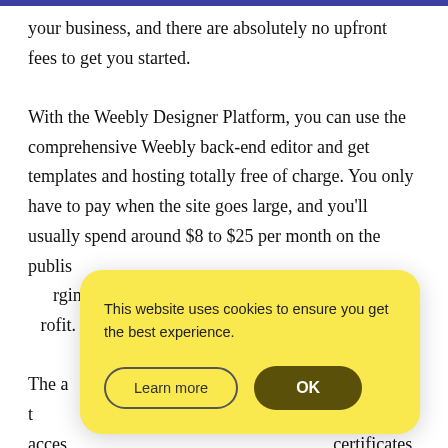your business, and there are absolutely no upfront fees to get you started.

With the Weebly Designer Platform, you can use the comprehensive Weebly back-end editor and get templates and hosting totally free of charge. You only have to pay when the site goes large, and you'll usually spend around $8 to $25 per month on the publis[hed plan. Weebly only makes money by cha]rging their c[lients, not the website visitors, so it's a] profit.

The a[ffordable plans go all the way up to the] Pro plan t[hat will set you back $38 per month. This give]s acces[s to some great features such as SSL] certificates and the options to create entirely branded
[Figure (other): Cookie consent modal dialog with yellow background. Text reads: 'This website uses cookies to ensure you get the best experience.' Two buttons: 'Learn more' (outline style) and 'OK' (dark olive/brown filled).]